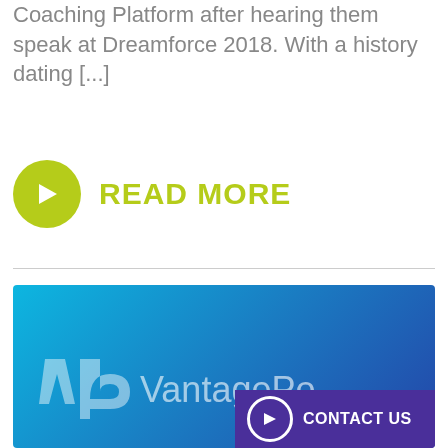Coaching Platform after hearing them speak at Dreamforce 2018. With a history dating [...]
[Figure (infographic): Yellow-green circular arrow button next to READ MORE text in yellow-green bold font]
[Figure (logo): VantagePoint logo on a blue gradient background banner with CONTACT US button in purple bar at bottom right]